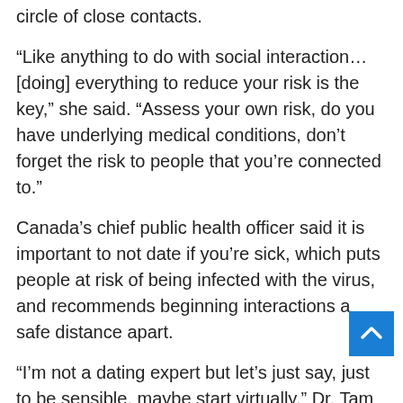circle of close contacts.
“Like anything to do with social interaction… [doing] everything to reduce your risk is the key,” she said. “Assess your own risk, do you have underlying medical conditions, don’t forget the risk to people that you’re connected to.”
Canada’s chief public health officer said it is important to not date if you’re sick, which puts people at risk of being infected with the virus, and recommends beginning interactions a safe distance apart.
“I’m not a dating expert but let’s just say, just to be sensible, maybe start virtually,” Dr. Tam said. “T is a serious social contract you have with someone.”